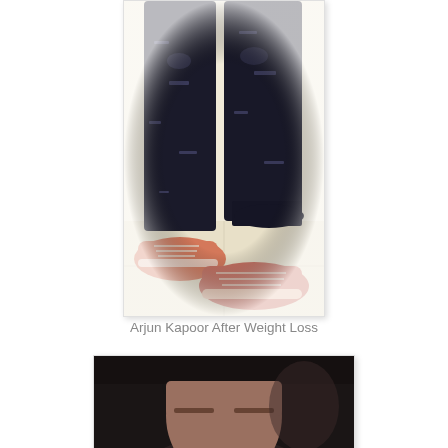[Figure (photo): Photo showing lower body of a person wearing dark distressed jeans and pink/salmon sneakers, standing on a tiled floor near a wall with an electrical outlet. The photo has a white border and faded edges.]
Arjun Kapoor After Weight Loss
[Figure (photo): Close-up photo of a person with dark curly/wavy hair, cropped to show top of head and forehead area. Dark background.]